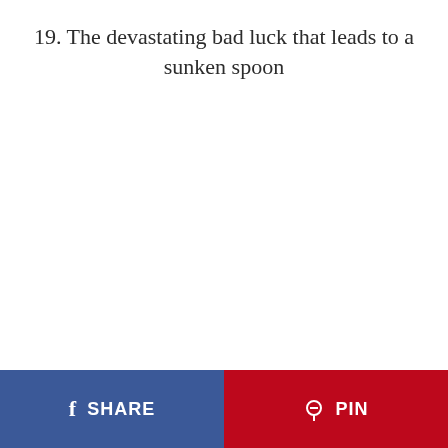19. The devastating bad luck that leads to a sunken spoon
[Figure (other): Empty white space area — image content not visible]
SHARE | PIN